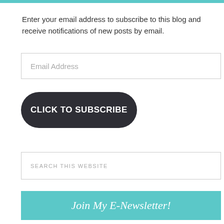Enter your email address to subscribe to this blog and receive notifications of new posts by email.
[Figure (screenshot): Email Address input field box]
[Figure (screenshot): CLICK TO SUBSCRIBE button, dark rounded rectangle]
[Figure (screenshot): SEARCH THIS WEBSITE input field box]
Join My E-Newsletter!
[Figure (screenshot): First Name input field box]